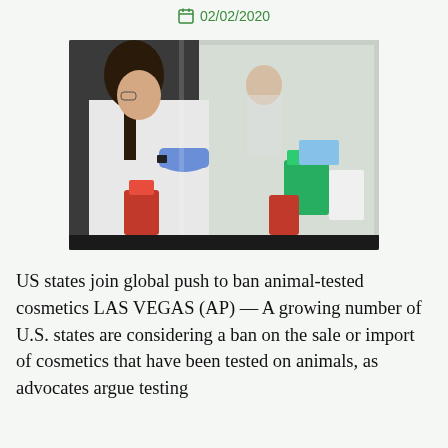02/02/2020
[Figure (photo): A woman in a white lab coat and blue gloves working inside a laboratory biosafety cabinet, handling red and green laboratory containers. Her reflection is visible in the cabinet glass.]
US states join global push to ban animal-tested cosmetics LAS VEGAS (AP) — A growing number of U.S. states are considering a ban on the sale or import of cosmetics that have been tested on animals, as advocates argue testing